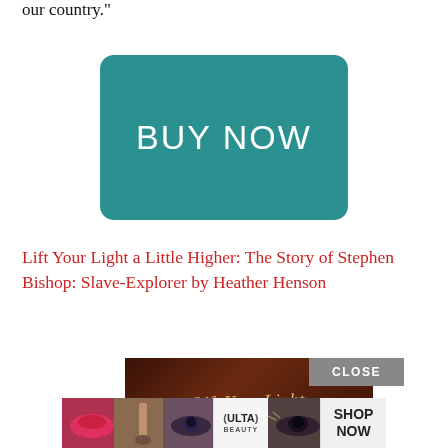our country."
[Figure (other): Teal rounded rectangle button with white text reading BUY NOW]
Lift Your Light a Little Higher: The Story of Stephen Bishop: Slave-Explorer by Heather Henson
[Figure (other): Book cover showing cursive text 'Lift Your Light' on dark background, with a CLOSE button and an ULTA beauty advertisement strip below showing makeup images and SHOP NOW text]